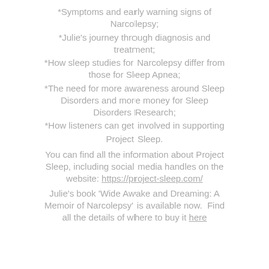*Symptoms and early warning signs of Narcolepsy;
*Julie's journey through diagnosis and treatment;
*How sleep studies for Narcolepsy differ from those for Sleep Apnea;
*The need for more awareness around Sleep Disorders and more money for Sleep Disorders Research;
*How listeners can get involved in supporting Project Sleep.
You can find all the information about Project Sleep, including social media handles on the website: https://project-sleep.com/
Julie's book 'Wide Awake and Dreaming: A Memoir of Narcolepsy' is available now.  Find all the details of where to buy it here